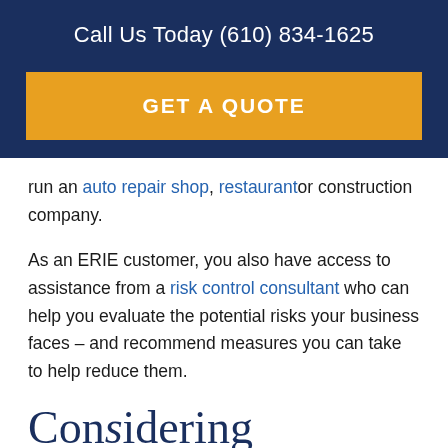Call Us Today (610) 834-1625
GET A QUOTE
run an auto repair shop, restaurantor construction company.
As an ERIE customer, you also have access to assistance from a risk control consultant who can help you evaluate the potential risks your business faces – and recommend measures you can take to help reduce them.
Considering